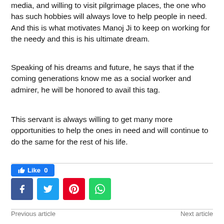media, and willing to visit pilgrimage places, the one who has such hobbies will always love to help people in need. And this is what motivates Manoj Ji to keep on working for the needy and this is his ultimate dream.
Speaking of his dreams and future, he says that if the coming generations know me as a social worker and admirer, he will be honored to avail this tag.
This servant is always willing to get many more opportunities to help the ones in need and will continue to do the same for the rest of his life.
[Figure (screenshot): Like button showing count of 0, and four social share icons: Facebook (blue), Twitter (cyan), Pinterest (red), WhatsApp (green)]
Previous article    Next article